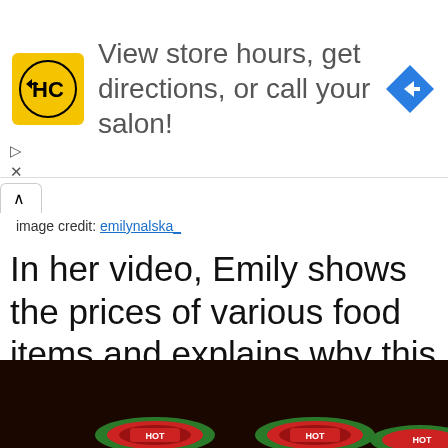[Figure (infographic): Advertisement banner: Hairclub logo (HC in black on yellow square), text 'View store hours, get directions, or call your salon!', blue navigation diamond icon on the right. Ad controls (play/close) visible on left side.]
image credit: emilynalska_
In her video, Emily shows the prices of various food items and explains why this is an issue in rural areas.
[Figure (photo): Dark background photo showing food jars/cans from above with red and green lids labeled 'HOT']